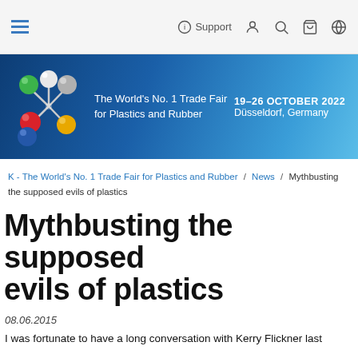Support
[Figure (logo): K Trade Fair logo with molecular structure graphic and banner: The World's No. 1 Trade Fair for Plastics and Rubber | 19-26 OCTOBER 2022, Düsseldorf, Germany]
K - The World's No. 1 Trade Fair for Plastics and Rubber / News / Mythbusting the supposed evils of plastics
Mythbusting the supposed evils of plastics
08.06.2015
I was fortunate to have a long conversation with Kerry Flickner last